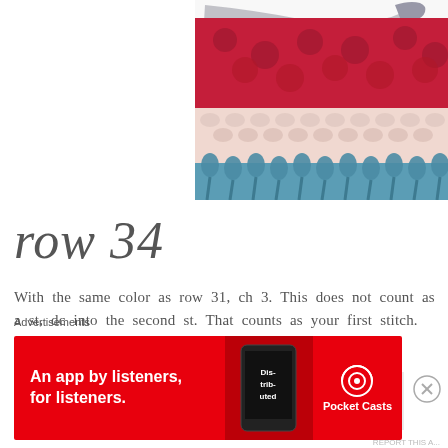[Figure (photo): Close-up photo of crochet work showing red, white/pink, and blue yarn with a crochet hook visible at top]
row 34
With the same color as row 31, ch 3.  This does not count as a st, dc into the second st.  That counts as your first stitch.
[Figure (photo): Partially visible blurred crochet image below the text]
Advertisements
[Figure (other): Advertisement banner: An app by listeners, for listeners. Pocket Casts]